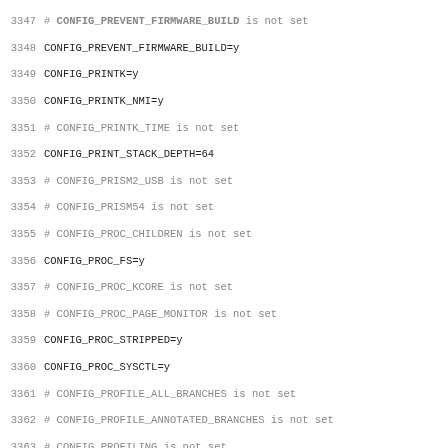3347 # CONFIG_PREVENT_FIRMWARE_BUILD is not set
3348 CONFIG_PREVENT_FIRMWARE_BUILD=y
3349 CONFIG_PRINTK=y
3350 CONFIG_PRINTK_NMI=y
3351 # CONFIG_PRINTK_TIME is not set
3352 CONFIG_PRINT_STACK_DEPTH=64
3353 # CONFIG_PRISM2_USB is not set
3354 # CONFIG_PRISM54 is not set
3355 # CONFIG_PROC_CHILDREN is not set
3356 CONFIG_PROC_FS=y
3357 # CONFIG_PROC_KCORE is not set
3358 # CONFIG_PROC_PAGE_MONITOR is not set
3359 CONFIG_PROC_STRIPPED=y
3360 CONFIG_PROC_SYSCTL=y
3361 # CONFIG_PROFILE_ALL_BRANCHES is not set
3362 # CONFIG_PROFILE_ANNOTATED_BRANCHES is not set
3363 # CONFIG_PROFILING is not set
3364 # CONFIG_PROVE_LOCKING is not set
3365 # CONFIG_PROVE_RCU is not set
3366 # CONFIG_PROVE_RCU_REPEATEDLY is not set
3367 # CONFIG_PSB6970_PHY is not set
3368 # CONFIG_PSTORE is not set
3369 # CONFIG_PTP_1588_CLOCK is not set
3370 # CONFIG_PTP_1588_CLOCK_IXP46X is not set
3371 # CONFIG_PTP_1588_CLOCK_PCH is not set
3372 # CONFIG_PUBLIC_KEY_ALGO_RSA is not set
3373 # CONFIG_PWM is not set
3374 # CONFIG_PWM_FSL_FTM is not set
3375 # CONFIG_PWM_PCA9685 is not set
3376 CONFIG_PWRSEQ_EMMC=y
3377 CONFIG_PWRSEQ_SIMPLE=y
3378 # CONFIG_QCA7000 is not set
3379 # CONFIG_QCOM_EMAC is not set